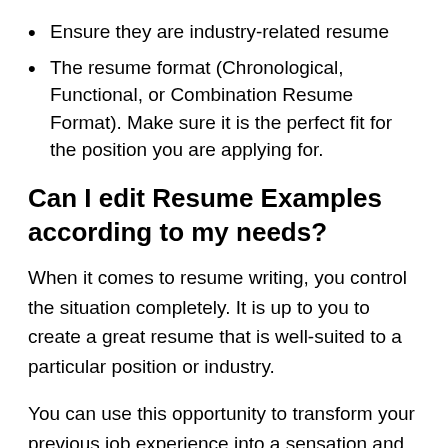Ensure they are industry-related resume
The resume format (Chronological, Functional, or Combination Resume Format). Make sure it is the perfect fit for the position you are applying for.
Can I edit Resume Examples according to my needs?
When it comes to resume writing, you control the situation completely. It is up to you to create a great resume that is well-suited to a particular position or industry.
You can use this opportunity to transform your previous job experience into a sensation and catch the eye of your potential employers.
If you want to pull this off easily, you can edit samples of